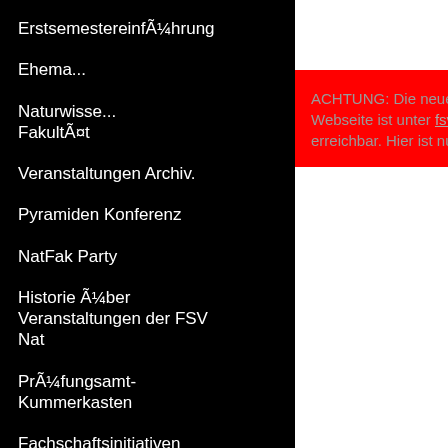ErstsemestereinführungÃ¼hrung
Ehema...
Naturwisse... FakultÃ¤t
[Figure (screenshot): Red alert popup box with German text: ACHTUNG: Die neue Stuve-Webseite ist unter [link] erreichbar. Hier ist nur noch]
Veranstaltungen Archiv.
Pyramiden Konferenz
NatFak Party
Historie Ã¼ber Veranstaltungen der FSV Nat
PrÃ¼fungsamt-Kummerkasten
Fachschaftsinitiativen (FSIen)
Infos fÃ¼r FSIen
Vernetzungstreffen
Haushaltsmittel
Sitzungen und Protokalle
year ... appro... object... own p... under... practi... the th... for ins... this fa...
Quo
Rathe... such b... would... quick ... discov... this ch... You a... Portio... upgra...
Writ
Mrs...